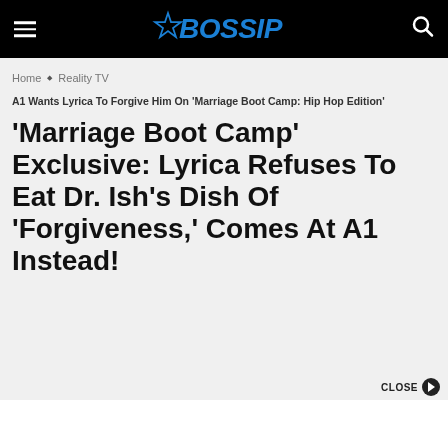BOSSIP
Home ◆ Reality TV
A1 Wants Lyrica To Forgive Him On 'Marriage Boot Camp: Hip Hop Edition'
'Marriage Boot Camp' Exclusive: Lyrica Refuses To Eat Dr. Ish's Dish Of 'Forgiveness,' Comes At A1 Instead!